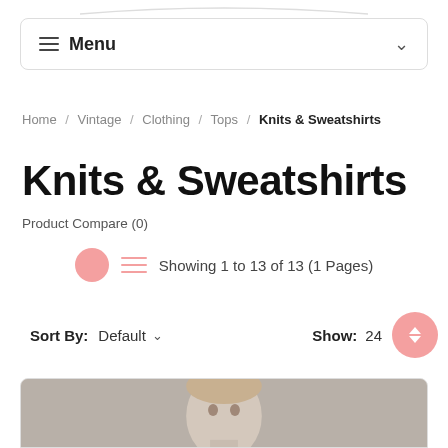Menu
Home / Vintage / Clothing / Tops / Knits & Sweatshirts
Knits & Sweatshirts
Product Compare (0)
Showing 1 to 13 of 13 (1 Pages)
Sort By: Default   Show: 24
[Figure (photo): Product photo showing a model wearing a knit or sweatshirt against a concrete background]